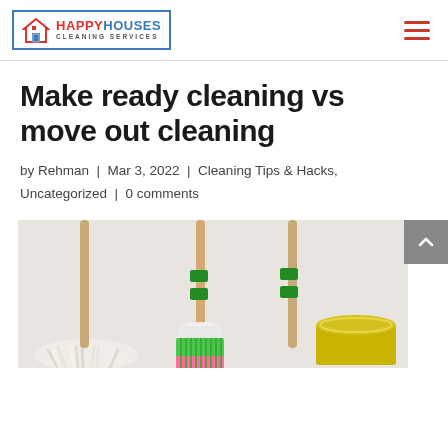[Figure (logo): Happy Houses Cleaning Services logo with house icon and blue border]
Make ready cleaning vs move out cleaning
by Rehman | Mar 3, 2022 | Cleaning Tips & Hacks, Uncategorized | 0 comments
[Figure (photo): Photo of cleaning tools: a mop, a broom with pink/green bristles, and a yellow bucket on a light background]